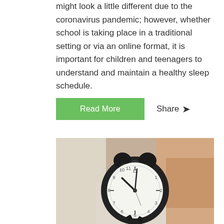might look a little different due to the coronavirus pandemic; however, whether school is taking place in a traditional setting or via an online format, it is important for children and teenagers to understand and maintain a healthy sleep schedule.
Read More  Share
[Figure (photo): A person holding a black analog alarm clock showing approximately 10:10, photographed in a bedroom setting with soft blurred background.]
SCHOOL START TIMES | START SCHOOL LATER | COVID-19
COVID-19 AND SCHOOL